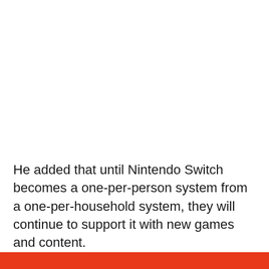He added that until Nintendo Switch becomes a one-per-person system from a one-per-household system, they will continue to support it with new games and content.
[Figure (other): Red/orange horizontal bar at the bottom of the page]